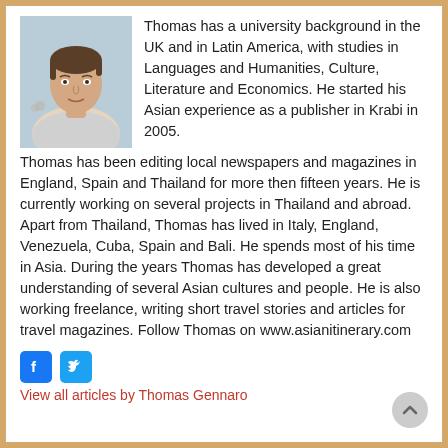[Figure (photo): Headshot photo of Thomas Gennaro, a man with dark hair in an indoor setting]
Thomas has a university background in the UK and in Latin America, with studies in Languages and Humanities, Culture, Literature and Economics. He started his Asian experience as a publisher in Krabi in 2005. Thomas has been editing local newspapers and magazines in England, Spain and Thailand for more then fifteen years. He is currently working on several projects in Thailand and abroad. Apart from Thailand, Thomas has lived in Italy, England, Venezuela, Cuba, Spain and Bali. He spends most of his time in Asia. During the years Thomas has developed a great understanding of several Asian cultures and people. He is also working freelance, writing short travel stories and articles for travel magazines. Follow Thomas on www.asianitinerary.com
[Figure (logo): Facebook and Twitter social media icons]
View all articles by Thomas Gennaro